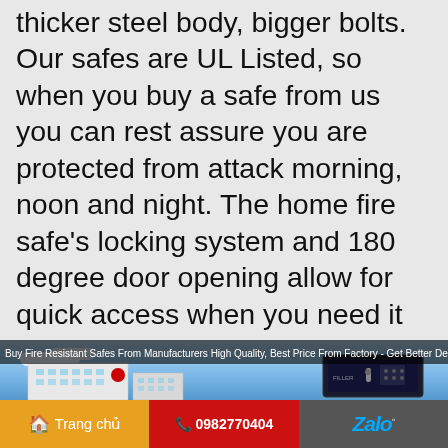thicker steel body, bigger bolts. Our safes are UL Listed, so when you buy a safe from us you can rest assure you are protected from attack morning, noon and night. The home fire safe's locking system and 180 degree door opening allow for quick access when you need it most. Our safes are also available in a wide variety of sizes, so they will easily fit in any home or office environment.
[Figure (photo): Advertisement banner for Fire Resistant Safes from Manufacturers, showing a building and a safe product image. Text reads: Buy Fire Resistant Safes From Manufacturers High Quality, Best Price From Factory - Get Better Deals 50%]
Trang chủ   0982770404   Zalo